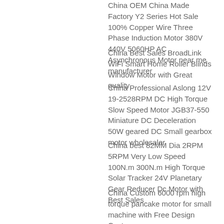China OEM China Made Factory Y2 Series Hot Sale 100% Copper Wire Three Phase Induction Motor 380V 440V 5060HP AC Asynchronous Motor near me manufacturer
China Best Sales BroadLink WiFi Smart Home Roller Blinds Window Motor with Great quality
China Professional Aslong 12V 19-2528RPM DC High Torque Slow Speed Motor JGB37-550 Miniature DC Deceleration 50W geared DC Small gearbox motor wholesaler
China best 82MM Dia 2RPM 5RPM Very Low Speed 100N.m 300N.m High Torque Solar Tracker 24V Planetary Gear Reducer Dc Motor with Best Sales
China Custom 6000 rpm high torque pancake motor for small machine with Free Design Custom
China Hot selling 48v 500w BLDC Motor for Electric bicycle with Best Sales
China Good quality 3500RPM Brush Motor Ac Motor